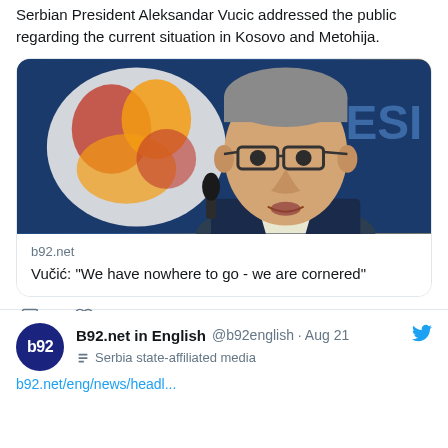Serbian President Aleksandar Vucic addressed the public regarding the current situation in Kosovo and Metohija.
[Figure (photo): Photo of Serbian President Aleksandar Vucic speaking at a press conference, with a microphone visible and a blue/coat of arms background. Link card from b92.net with headline: Vučić: "We have nowhere to go - we are cornered"]
1
B92.net in English @b92english · Aug 21
Serbia state-affiliated media
b92.net/eng/news/headl...